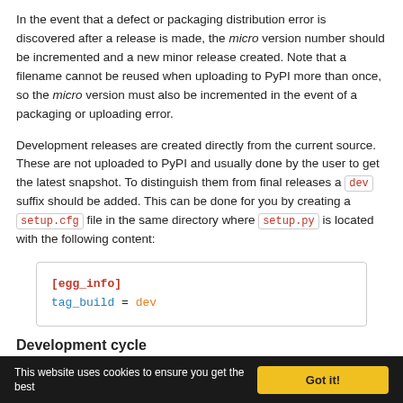In the event that a defect or packaging distribution error is discovered after a release is made, the micro version number should be incremented and a new minor release created. Note that a filename cannot be reused when uploading to PyPI more than once, so the micro version must also be incremented in the event of a packaging or uploading error.
Development releases are created directly from the current source. These are not uploaded to PyPI and usually done by the user to get the latest snapshot. To distinguish them from final releases a `dev` suffix should be added. This can be done for you by creating a `setup.cfg` file in the same directory where `setup.py` is located with the following content:
[egg_info]
tag_build = dev
Development cycle
The development and release cycle of plugins also adheres to standards. In the following examples the current final version of a plugin is `1.0.1` and the next planned release version is `1.2.0`.
1. In `setup.py` specify the next version:
This website uses cookies to ensure you get the best